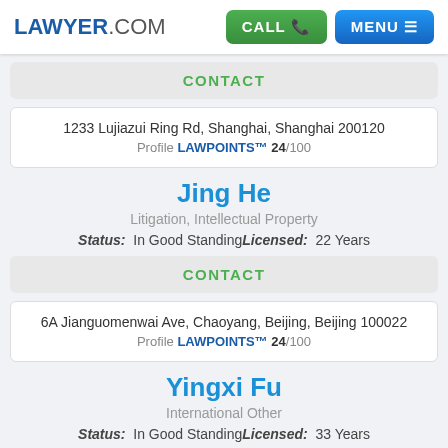LAWYER.COM | CALL | MENU
CONTACT
1233 Lujiazui Ring Rd, Shanghai, Shanghai 200120
Profile LAWPOINTS™ 24/100
Jing He
Litigation, Intellectual Property
Status: In Good Standing Licensed: 22 Years
CONTACT
6A Jianguomenwai Ave, Chaoyang, Beijing, Beijing 100022
Profile LAWPOINTS™ 24/100
Yingxi Fu
International Other
Status: In Good Standing Licensed: 33 Years
CONTACT